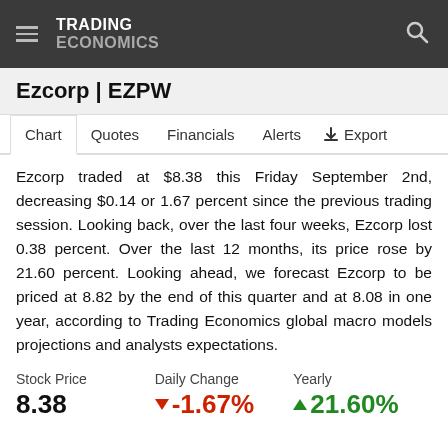TRADING ECONOMICS
Ezcorp | EZPW
Chart   Quotes   Financials   Alerts   Export
Ezcorp traded at $8.38 this Friday September 2nd, decreasing $0.14 or 1.67 percent since the previous trading session. Looking back, over the last four weeks, Ezcorp lost 0.38 percent. Over the last 12 months, its price rose by 21.60 percent. Looking ahead, we forecast Ezcorp to be priced at 8.82 by the end of this quarter and at 8.08 in one year, according to Trading Economics global macro models projections and analysts expectations.
Stock Price: 8.38 | Daily Change: -1.67% | Yearly: 21.60%